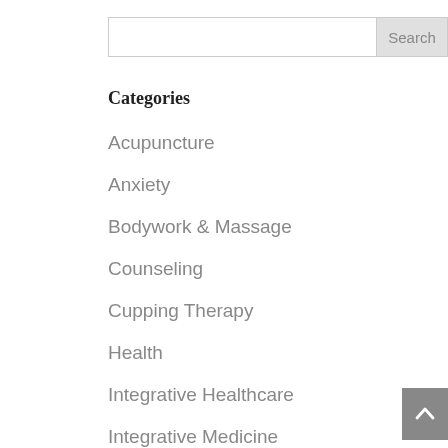Categories
Acupuncture
Anxiety
Bodywork & Massage
Counseling
Cupping Therapy
Health
Integrative Healthcare
Integrative Medicine
Mental Health